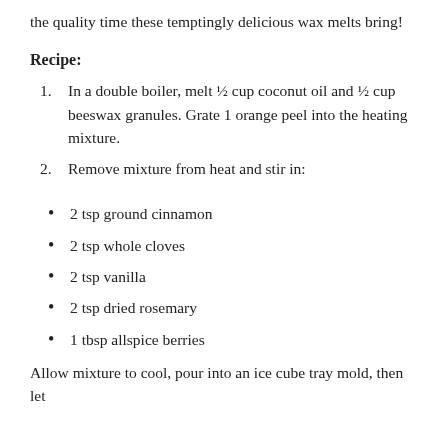the quality time these temptingly delicious wax melts bring!
Recipe:
In a double boiler, melt ½ cup coconut oil and ½ cup beeswax granules. Grate 1 orange peel into the heating mixture.
Remove mixture from heat and stir in:
2 tsp ground cinnamon
2 tsp whole cloves
2 tsp vanilla
2 tsp dried rosemary
1 tbsp allspice berries
Allow mixture to cool, pour into an ice cube tray mold, then let